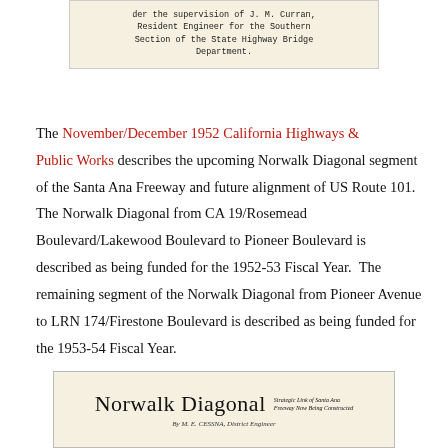der the supervision of J. M. Curran, Resident Engineer for the Southern Section of the State Highway Bridge Department.
The November/December 1952 California Highways & Public Works describes the upcoming Norwalk Diagonal segment of the Santa Ana Freeway and future alignment of US Route 101. The Norwalk Diagonal from CA 19/Rosemead Boulevard/Lakewood Boulevard to Pioneer Boulevard is described as being funded for the 1952-53 Fiscal Year. The remaining segment of the Norwalk Diagonal from Pioneer Avenue to LRN 174/Firestone Boulevard is described as being funded for the 1953-54 Fiscal Year.
[Figure (other): Header image from a publication titled 'Norwalk Diagonal - Strategic Link of Santa Ana Freeway Now Being Constructed' by M. E. Cessna, District Engineer]